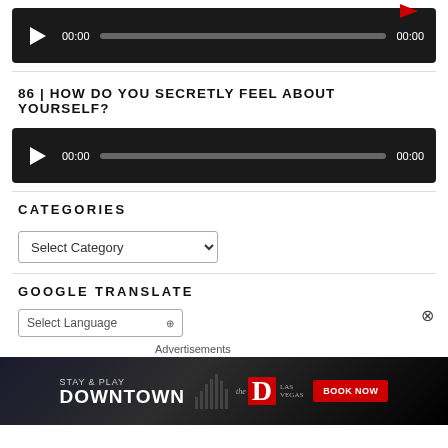[Figure (other): Audio player widget with dark background, play button, time labels 00:00 and 00:00, and a progress bar]
86 | HOW DO YOU SECRETLY FEEL ABOUT YOURSELF?
[Figure (other): Second audio player widget with dark background, play button, time labels 00:00 and 00:00, and a progress bar]
CATEGORIES
[Figure (other): Select Category dropdown widget]
GOOGLE TRANSLATE
[Figure (other): Select Language dropdown widget (partially visible)]
[Figure (other): Advertisement banner: Stay & Play Downtown - The D Las Vegas - Book Now]
Advertisements